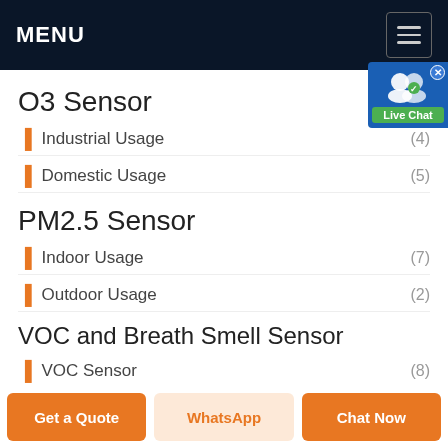MENU
O3 Sensor
Industrial Usage (4)
Domestic Usage (5)
PM2.5 Sensor
Indoor Usage (7)
Outdoor Usage (2)
VOC and Breath Smell Sensor
VOC Sensor (8)
Flow Sensor
Get a Quote | WhatsApp | Chat Now